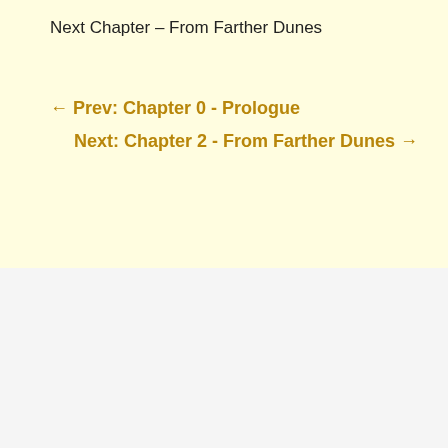Next Chapter – From Farther Dunes
← Prev: Chapter 0 - Prologue
Next: Chapter 2 - From Farther Dunes →
0 Comments
Submit a Comment